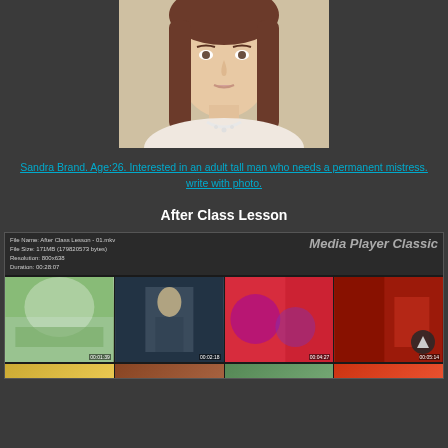[Figure (photo): Portrait photo of a young woman with brown hair, wearing a pearl necklace, against a light background]
Sandra Brand. Age:26. Interested in an adult tall man who needs a permanent mistress. write with photo.
After Class Lesson
[Figure (screenshot): Media Player Classic screenshot showing file info: File Name: After Class Lesson - 01.mkv, File Size: 171MB (179820573 bytes), Resolution: 800x638, Duration: 00:28:07, with 4 anime thumbnails with timestamps 00:01:39, 00:02:18, 00:04:27, 00:05:14]